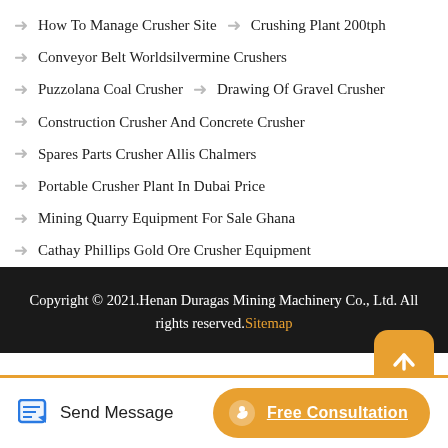How To Manage Crusher Site   →   Crushing Plant 200tph
Conveyor Belt Worldsilvermine Crushers
Puzzolana Coal Crusher   →   Drawing Of Gravel Crusher
Construction Crusher And Concrete Crusher
Spares Parts Crusher Allis Chalmers
Portable Crusher Plant In Dubai Price
Mining Quarry Equipment For Sale Ghana
Cathay Phillips Gold Ore Crusher Equipment
Copyright © 2021.Henan Duragas Mining Machinery Co., Ltd. All rights reserved.Sitemap
Send Message
Free Consultation